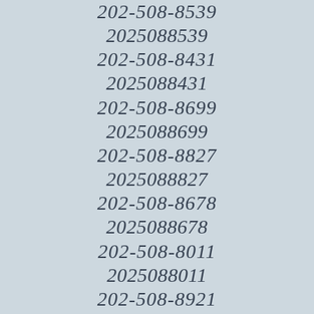202-508-8539
2025088539
202-508-8431
2025088431
202-508-8699
2025088699
202-508-8827
2025088827
202-508-8678
2025088678
202-508-8011
2025088011
202-508-8921
2025088921
202-508-8177
2025088177